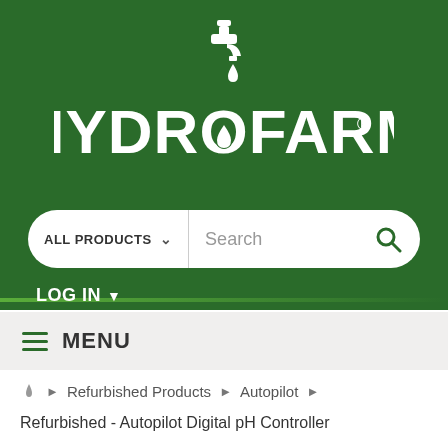[Figure (logo): Hydrofarm logo: white faucet icon above white text 'HYDROFARM' with a water drop replacing the 'O', on dark green background]
[Figure (screenshot): Search bar with 'ALL PRODUCTS' dropdown and 'Search' text input with green search icon]
LOG IN ▾
≡ MENU
🏠 ▸ Refurbished Products ▸ Autopilot ▸
Refurbished - Autopilot Digital pH Controller